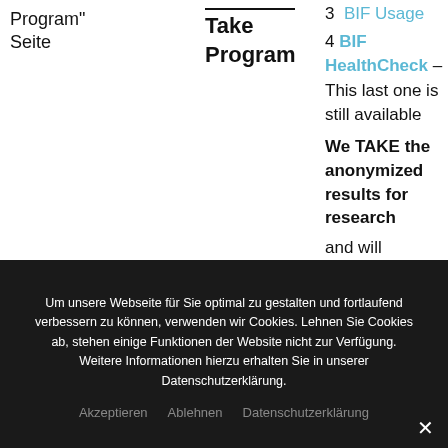Program"
Seite
Take
Program
3  BIF Usage
4  BIF HealthCheck – This last one is still available
We TAKE the anonymized results for research and will communicate with the local User Groups for discussions
Lesen Sie die
Um unsere Webseite für Sie optimal zu gestalten und fortlaufend verbessern zu können, verwenden wir Cookies. Lehnen Sie Cookies ab, stehen einige Funktionen der Website nicht zur Verfügung. Weitere Informationen hierzu erhalten Sie in unserer Datenschutzerklärung.
Akzeptieren  Ablehnen  Datenschutzerklärung